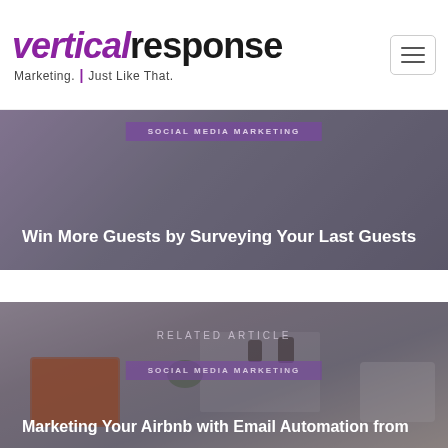VerticalResponse Marketing. Just Like That.
[Figure (photo): Article card with dark overlay showing bedroom/hospitality interior, purple badge 'SOCIAL MEDIA MARKETING' and white title 'Win More Guests by Surveying Your Last Guests']
[Figure (photo): Related article card with dark overlay showing Airbnb-style bedroom interior, 'RELATED ARTICLE' label, purple badge 'SOCIAL MEDIA MARKETING' and white title 'Marketing Your Airbnb with Email Automation from']